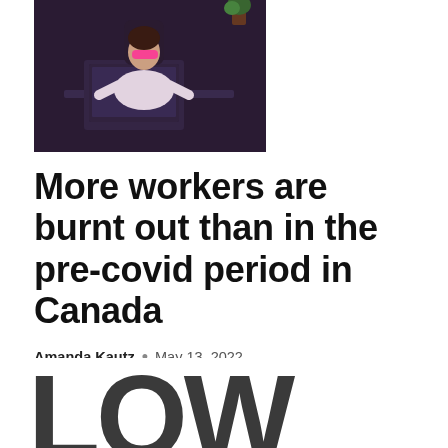[Figure (photo): A person sitting at a desk with a laptop, head tilted back, appearing exhausted or burnt out, lit by pink/purple lighting in a dark office setting.]
More workers are burnt out than in the pre-covid period in Canada
Amanda Kautz  •  May 13, 2022
Flexible hours have created the feeling that people need to be available at all times, making it harder to disconnect from work. More than a third of Canadians are more exhausted today than a year ago, according to a new report from...
[Figure (photo): Large bold letters spelling 'LOW' partially visible at the bottom of the page, in dark gray color.]